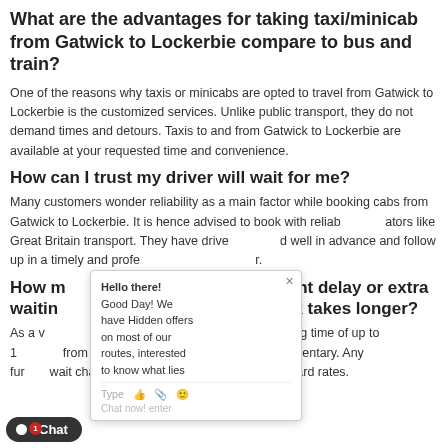What are the advantages for taking taxi/minicab from Gatwick to Lockerbie compare to bus and train?
One of the reasons why taxis or minicabs are opted to travel from Gatwick to Lockerbie is the customized services. Unlike public transport, they do not demand times and detours. Taxis to and from Gatwick to Lockerbie are available at your requested time and convenience.
How can I trust my driver will wait for me?
Many customers wonder reliability as a main factor while booking cabs from Gatwick to Lockerbie. It is hence advised to book with reliable operators like Great Britain transport. They have drivers informed well in advance and follow up in a timely and professional manner.
How much charge extra for flight delay or extra waiting in case customer check takes longer?
As a valued customer, we do offer a free waiting time of up to 1 hour from the flight landing time. This is complimentary. Any further wait charges are applicable at industry standard rates.